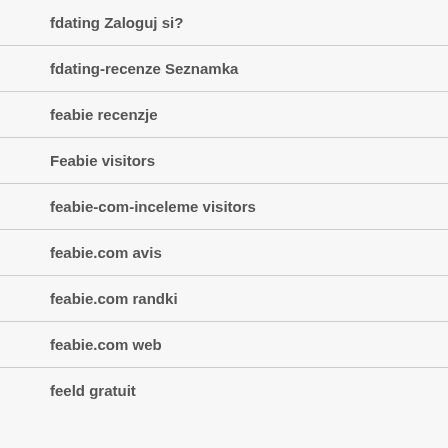fdating Zaloguj si?
fdating-recenze Seznamka
feabie recenzje
Feabie visitors
feabie-com-inceleme visitors
feabie.com avis
feabie.com randki
feabie.com web
feeld gratuit